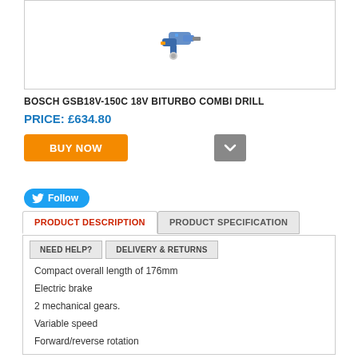[Figure (photo): Product image of Bosch GSB18V-150C 18V BiTurbo Combi Drill on white background inside a bordered box]
BOSCH GSB18V-150C 18V BITURBO COMBI DRILL
PRICE: £634.80
BUY NOW
[Figure (illustration): Grey dropdown chevron button]
Follow
PRODUCT DESCRIPTION | PRODUCT SPECIFICATION
NEED HELP? | DELIVERY & RETURNS
Compact overall length of 176mm
Electric brake
2 mechanical gears.
Variable speed
Forward/reverse rotation